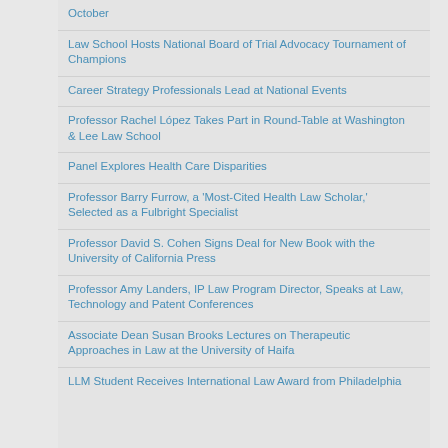October
Law School Hosts National Board of Trial Advocacy Tournament of Champions
Career Strategy Professionals Lead at National Events
Professor Rachel López Takes Part in Round-Table at Washington & Lee Law School
Panel Explores Health Care Disparities
Professor Barry Furrow, a 'Most-Cited Health Law Scholar,' Selected as a Fulbright Specialist
Professor David S. Cohen Signs Deal for New Book with the University of California Press
Professor Amy Landers, IP Law Program Director, Speaks at Law, Technology and Patent Conferences
Associate Dean Susan Brooks Lectures on Therapeutic Approaches in Law at the University of Haifa
LLM Student Receives International Law Award from Philadelphia